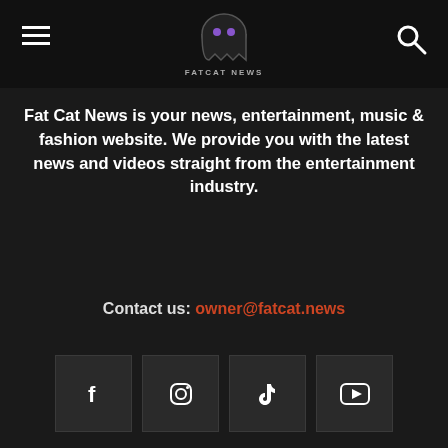FATCAT NEWS
Fat Cat News is your news, entertainment, music & fashion website. We provide you with the latest news and videos straight from the entertainment industry.
Contact us: owner@fatcat.news
[Figure (infographic): Social media icons: Facebook, Instagram, TikTok, YouTube]
POPULAR POSTS
[Figure (photo): Photo of a person using a mobile device, dark background]
Shares slide after China brands online games ‘electronic drugs’